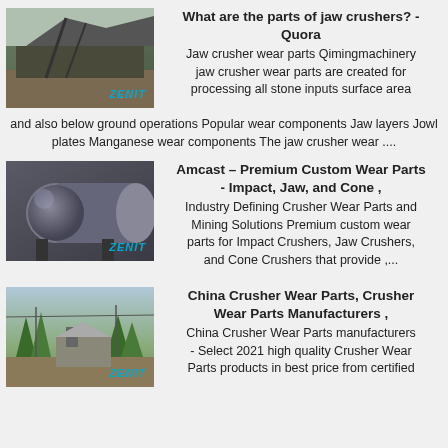[Figure (photo): Thumbnail image of a jaw crusher at a mining site, with ZENIT watermark]
What are the parts of jaw crushers? - Quora
Jaw crusher wear parts Qimingmachinery jaw crusher wear parts are created for processing all stone inputs surface area and also below ground operations Popular wear components Jaw layers Jowl plates Manganese wear components The jaw crusher wear ....
[Figure (photo): Thumbnail image of a large cylindrical industrial ball mill, with ZENIT watermark]
Amcast – Premium Custom Wear Parts - Impact, Jaw, and Cone ,
Industry Defining Crusher Wear Parts and Mining Solutions Premium custom wear parts for Impact Crushers, Jaw Crushers, and Cone Crushers that provide ,...
[Figure (photo): Thumbnail image of a crusher facility in a wooded outdoor setting, with ZENIT watermark]
China Crusher Wear Parts, Crusher Wear Parts Manufacturers ,
China Crusher Wear Parts manufacturers - Select 2021 high quality Crusher Wear Parts products in best price from certified